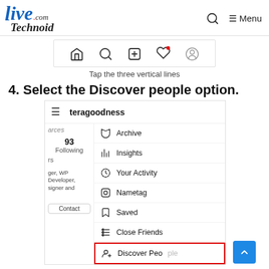LiveTechnoid.com — Menu
[Figure (screenshot): Instagram bottom navigation bar showing home, search, add, heart, and profile icons. Caption: Tap the three vertical lines]
Tap the three vertical lines
4. Select the Discover people option.
[Figure (screenshot): Instagram profile menu showing hamburger icon, username teragoodness, and menu items: Archive, Insights, Your Activity, Nametag, Saved, Close Friends, and Discover People (highlighted in red box)]